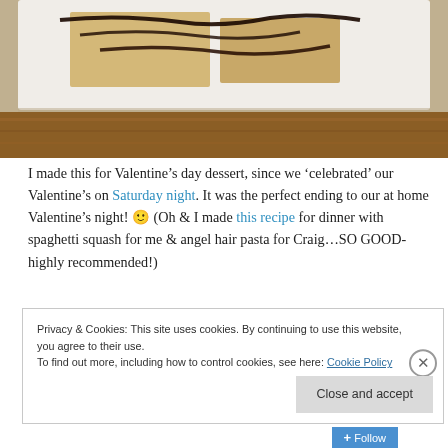[Figure (photo): Partial view of a dessert on a white plate on a wooden table, with chocolate drizzle visible, partially cropped at top]
I made this for Valentine’s day dessert, since we ‘celebrated’ our Valentine’s on Saturday night. It was the perfect ending to our at home Valentine’s night! 🙂 (Oh & I made this recipe for dinner with spaghetti squash for me & angel hair pasta for Craig…SO GOOD- highly recommended!)
Privacy & Cookies: This site uses cookies. By continuing to use this website, you agree to their use.
To find out more, including how to control cookies, see here: Cookie Policy